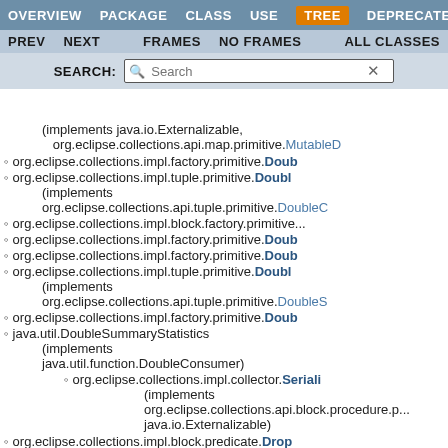OVERVIEW  PACKAGE  CLASS  USE  TREE  DEPRECATED
PREV  NEXT  FRAMES  NO FRAMES  ALL CLASSES
SEARCH: [Search]
(implements java.io.Externalizable, org.eclipse.collections.api.map.primitive.MutableD...
org.eclipse.collections.impl.factory.primitive.Doub...
org.eclipse.collections.impl.tuple.primitive.Doubl...
(implements org.eclipse.collections.api.tuple.primitive.DoubleC...
org.eclipse.collections.impl.block.factory.primitive...
org.eclipse.collections.impl.factory.primitive.Doub...
org.eclipse.collections.impl.factory.primitive.Doub...
org.eclipse.collections.impl.tuple.primitive.Doubl...
(implements org.eclipse.collections.api.tuple.primitive.DoubleS...
org.eclipse.collections.impl.factory.primitive.Doub...
java.util.DoubleSummaryStatistics (implements java.util.function.DoubleConsumer)
org.eclipse.collections.impl.collector.Seriali... (implements org.eclipse.collections.api.block.procedure.p... java.io.Externalizable)
org.eclipse.collections.impl.block.predicate.Drop... (implements...
org.eclipse.collections.api.block.predicate. Predic...